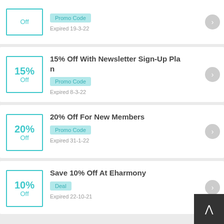Off
Promo Code
Expired 19-3-22
15% Off With Newsletter Sign-Up Plan
Promo Code
Expired 8-3-22
20% Off For New Members
Promo Code
Expired 31-1-22
Save 10% Off At Eharmony
Deal
Expired 22-10-21